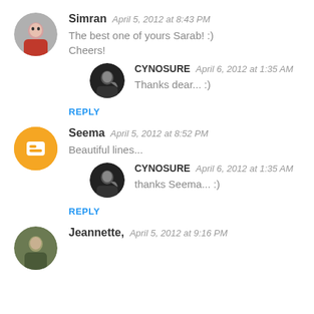Simran  April 5, 2012 at 8:43 PM
The best one of yours Sarab! :)
Cheers!
CYNOSURE  April 6, 2012 at 1:35 AM
Thanks dear... :)
REPLY
Seema  April 5, 2012 at 8:52 PM
Beautiful lines...
CYNOSURE  April 6, 2012 at 1:35 AM
thanks Seema... :)
REPLY
Jeannette,  April 5, 2012 at 9:16 PM